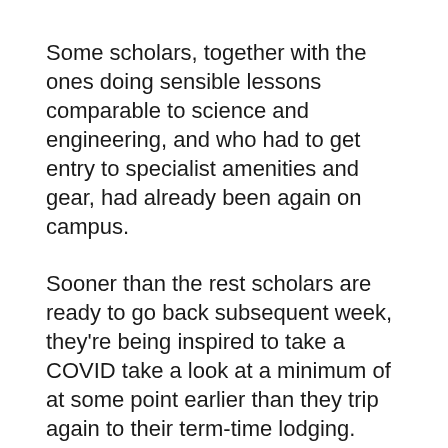Some scholars, together with the ones doing sensible lessons comparable to science and engineering, and who had to get entry to specialist amenities and gear, had already been again on campus.
Sooner than the rest scholars are ready to go back subsequent week, they're being inspired to take a COVID take a look at a minimum of at some point earlier than they trip again to their term-time lodging.
And, upon their arrival again on campus, all scholars and group of workers might be inspired to take 3 supervised lateral go with the flow exams 3 to 4 days aside at an on-campus trying out web site.